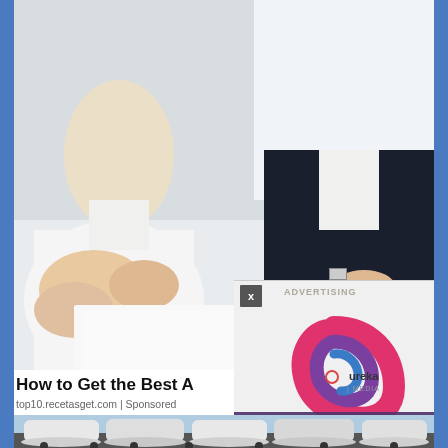[Figure (photo): Two people at a desk discussing documents — a woman in white shirt on left and a man in dark suit on right, with toy cars, pens, and papers on the desk. A business/auto insurance consultation scene.]
[Figure (logo): Ureka Media logo — a colorful swirl in pink, magenta, purple and blue forming a circle with the text 'ureka MEDIA' inside, on a light gray background. Overlay ad widget with X close button, ADVERTISING label, and video controls bar with play, volume, 'Xem Thêm' (Vietnamese for 'See More'), and fullscreen button.]
How to Get the Best A
top10.recetasget.com | Sponsored
[Figure (photo): Row of white car-covered vehicles on a transport truck, partially visible at the bottom of the page.]